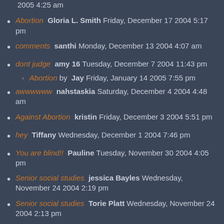2005 4:25 am
Abortion  Gloria L. Smith  Friday, December 17 2004 5:17 pm
comments  santhi  Monday, December 13 2004 4:07 am
dont judge  amy 16  Tuesday, December 7 2004 11:43 pm
Abortion  by  Jay  Friday, January 14 2005 7:55 pm
awwwwww  nahstaskia  Saturday, December 4 2004 4:48 am
Against Abortion  kristin  Friday, December 3 2004 5:51 pm
hey  Tiffany  Wednesday, December 1 2004 7:46 pm
You are blind!!  Pauline  Tuesday, November 30 2004 4:05 pm
Senior social studies  jessica Bayles  Wednesday, November 24 2004 2:19 pm
Senior social studies  Torie Platt  Wednesday, November 24 2004 2:13 pm
WRONG.  Kayla  Tuesday, November 23 2004 10:32 pm
Hell NO!!  Samantha  Monday, November 22 2004 8:47 pm
Modern day Babylon  sallie crews  Sunday, November 21 2004 9:38 pm